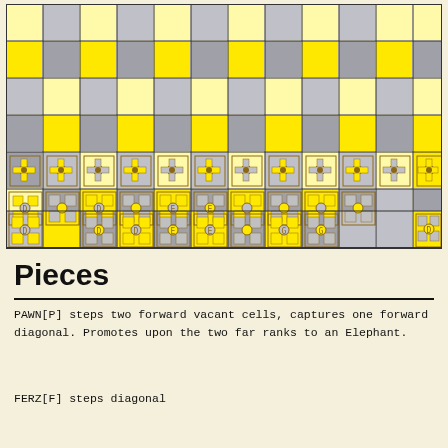[Figure (other): A chess/board game diagram showing a partial game board with yellow and gray checkered squares in the top rows, and decorative piece symbols (pawns, elephants, kings/rooks) in the bottom rows. The board has approximately 12 columns and 6 rows visible, with alternating yellow/gold and gray squares. The bottom three rows show stylized game pieces with ornate patterns on yellow and gray backgrounds.]
Pieces
PAWN[P] steps two forward vacant cells, captures one forward diagonal. Promotes upon the two far ranks to an Elephant.
FERZ[F] steps diagonal